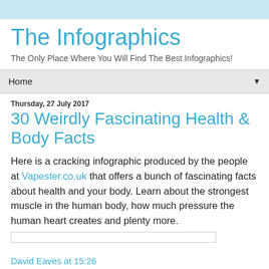The Infographics
The Only Place Where You Will Find The Best Infographics!
Home
Thursday, 27 July 2017
30 Weirdly Fascinating Health & Body Facts
Here is a cracking infographic produced by the people at Vapester.co.uk that offers a bunch of fascinating facts about health and your body. Learn about the strongest muscle in the human body, how much pressure the human heart creates and plenty more.
David Eaves at 15:26